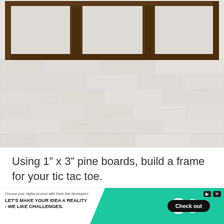[Figure (photo): A wooden rectangular frame with three open sections (tic-tac-toe grid frame) mounted on a white painted brick wall. The frame is dark brown stained wood. The photo is taken in portrait orientation showing the frame in the upper portion and white brick wall below.]
Using 1" x 3" pine boards, build a frame for your tic tac toe.
[Figure (other): Advertisement banner: 'LET'S MAKE YOUR IDEA A REALITY - WE LIKE CHALLENGES.' with a Check out button, on a teal/green background with a logo icon.]